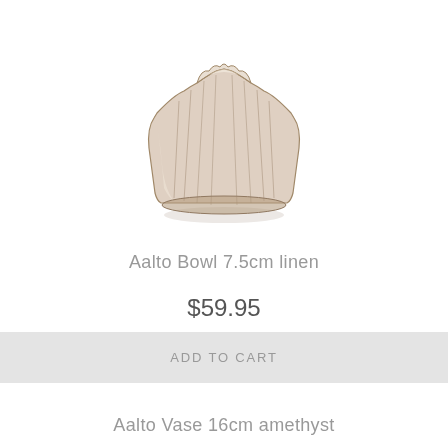[Figure (illustration): A translucent linen-colored glass bowl with wavy/ruffled edges viewed from a slight angle, the Aalto Bowl by Iittala. The bowl has a fluted, tapered form with an organic wavy rim.]
Aalto Bowl 7.5cm linen
$59.95
ADD TO CART
Aalto Vase 16cm amethyst